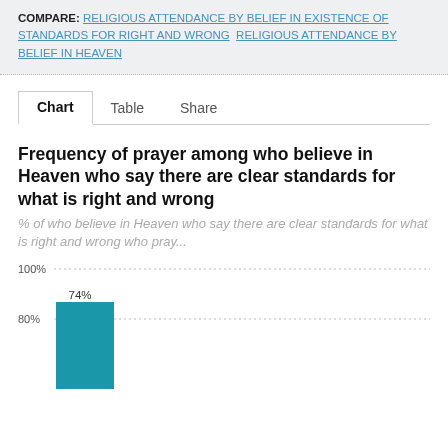COMPARE: RELIGIOUS ATTENDANCE BY BELIEF IN EXISTENCE OF STANDARDS FOR RIGHT AND WRONG  RELIGIOUS ATTENDANCE BY BELIEF IN HEAVEN
Chart | Table | Share
Frequency of prayer among who believe in Heaven who say there are clear standards for what is right and wrong
% of who believe in Heaven who say there are clear standards for what is right and wrong who pray...
[Figure (bar-chart): Frequency of prayer among who believe in Heaven who say there are clear standards for what is right and wrong]